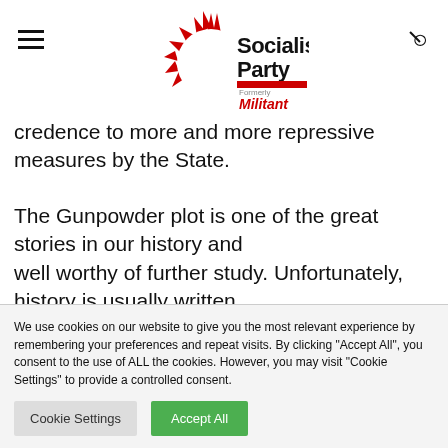Socialist Party (Formerly Militant) - logo with hamburger menu and search icon
credence to more and more repressive measures by the State.
The Gunpowder plot is one of the great stories in our history and well worthy of further study. Unfortunately, history is usually written
We use cookies on our website to give you the most relevant experience by remembering your preferences and repeat visits. By clicking "Accept All", you consent to the use of ALL the cookies. However, you may visit "Cookie Settings" to provide a controlled consent.